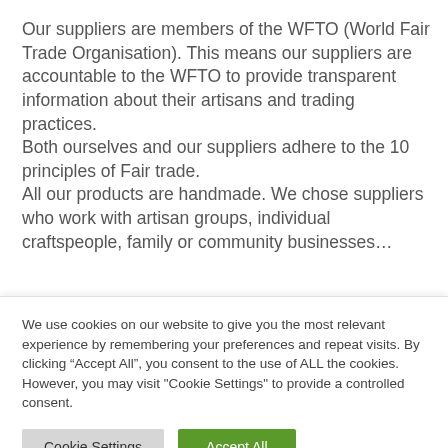Our suppliers are members of the WFTO (World Fair Trade Organisation). This means our suppliers are accountable to the WFTO to provide transparent information about their artisans and trading practices. Both ourselves and our suppliers adhere to the 10 principles of Fair trade. All our products are handmade. We chose suppliers who work with artisan groups, individual craftspeople, family or community businesses…
We use cookies on our website to give you the most relevant experience by remembering your preferences and repeat visits. By clicking "Accept All", you consent to the use of ALL the cookies. However, you may visit "Cookie Settings" to provide a controlled consent.